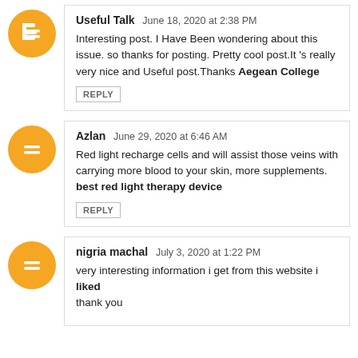Useful Talk  June 18, 2020 at 2:38 PM
Interesting post. I Have Been wondering about this issue. so thanks for posting. Pretty cool post.It 's really very nice and Useful post.Thanks Aegean College
REPLY
Azlan  June 29, 2020 at 6:46 AM
Red light recharge cells and will assist those veins with carrying more blood to your skin, more supplements. best red light therapy device
REPLY
nigria machal  July 3, 2020 at 1:22 PM
very interesting information i get from this website i liked
thank you